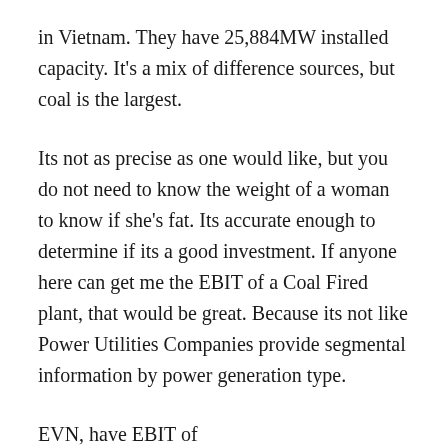in Vietnam. They have 25,884MW installed capacity. It's a mix of difference sources, but coal is the largest.
Its not as precise as one would like, but you do not need to know the weight of a woman to know if she's fat. Its accurate enough to determine if its a good investment. If anyone here can get me the EBIT of a Coal Fired plant, that would be great. Because its not like Power Utilities Companies provide segmental information by power generation type.
EVN, have EBIT of VND27,524,822,000,000. That is RM4.9bil.